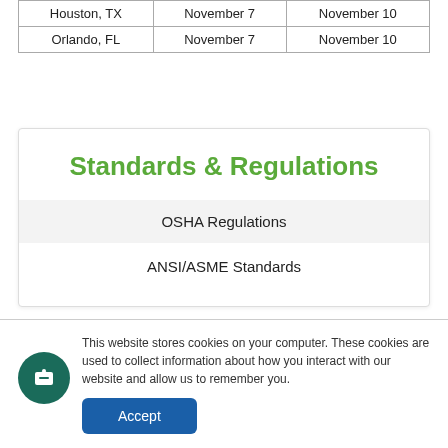| Houston, TX | November 7 | November 10 |
| Orlando, FL | November 7 | November 10 |
Standards & Regulations
OSHA Regulations
ANSI/ASME Standards
This website stores cookies on your computer. These cookies are used to collect information about how you interact with our website and allow us to remember you.